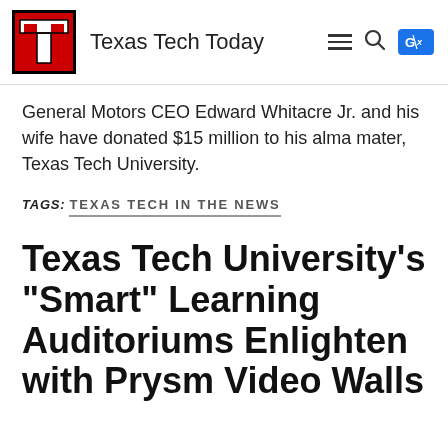Texas Tech Today
General Motors CEO Edward Whitacre Jr. and his wife have donated $15 million to his alma mater, Texas Tech University.
TAGS: TEXAS TECH IN THE NEWS
Texas Tech University's "Smart" Learning Auditoriums Enlighten with Prysm Video Walls